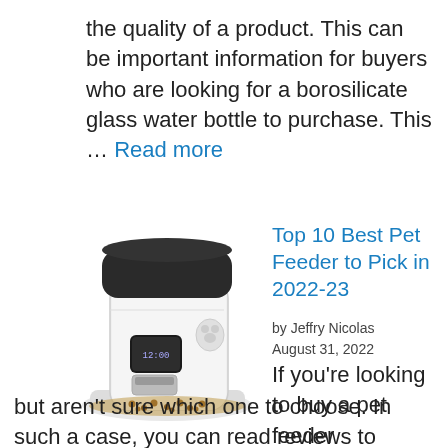the quality of a product. This can be important information for buyers who are looking for a borosilicate glass water bottle to purchase. This … Read more
[Figure (photo): An automatic pet feeder device, white and black, dispensing pet food pellets into a tray at the bottom.]
Top 10 Best Pet Feeder to Pick in 2022-23
by Jeffry Nicolas
August 31, 2022
If you're looking to buy a pet feeder but aren't sure which one to choose. In such a case, you can read reviews to determine which one meets your requirements. … Read more